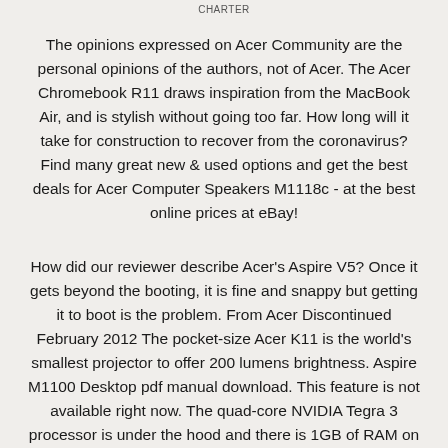CHARTER
The opinions expressed on Acer Community are the personal opinions of the authors, not of Acer. The Acer Chromebook R11 draws inspiration from the MacBook Air, and is stylish without going too far. How long will it take for construction to recover from the coronavirus? Find many great new & used options and get the best deals for Acer Computer Speakers M1118c - at the best online prices at eBay!
How did our reviewer describe Acer's Aspire V5? Once it gets beyond the booting, it is fine and snappy but getting it to boot is the problem. From Acer Discontinued February 2012 The pocket-size Acer K11 is the world's smallest projector to offer 200 lumens brightness. Aspire M1100 Desktop pdf manual download. This feature is not available right now. The quad-core NVIDIA Tegra 3 processor is under the hood and there is 1GB of RAM on board. With its large, 2.5-